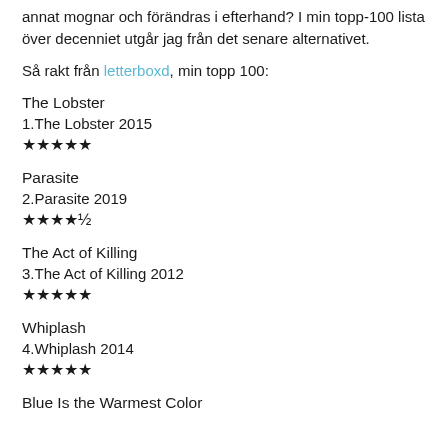annat mognar och förändras i efterhand? I min topp-100 lista över decenniet utgår jag från det senare alternativet.
Så rakt från letterboxd, min topp 100:
The Lobster
1.The Lobster 2015
★★★★★
Parasite
2.Parasite 2019
★★★★½
The Act of Killing
3.The Act of Killing 2012
★★★★★
Whiplash
4.Whiplash 2014
★★★★★
Blue Is the Warmest Color